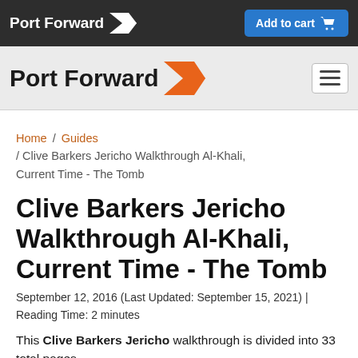Port Forward | Add to cart
Port Forward (secondary nav with hamburger menu)
Home / Guides / Clive Barkers Jericho Walkthrough Al-Khali, Current Time - The Tomb
Clive Barkers Jericho Walkthrough Al-Khali, Current Time - The Tomb
September 12, 2016 (Last Updated: September 15, 2021) | Reading Time: 2 minutes
This Clive Barkers Jericho walkthrough is divided into 33 total pages.